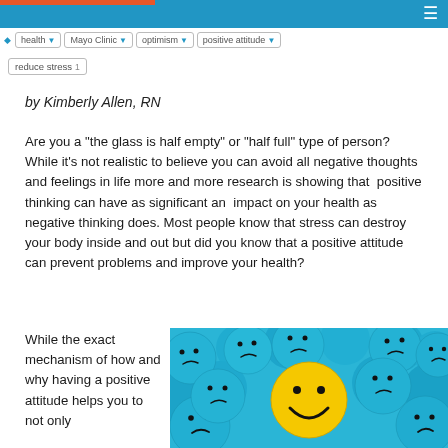health | Mayo Clinic | optimism | positive attitude | reduce stress
by Kimberly Allen, RN
Are you a "the glass is half empty" or "half full" type of person? While it's not realistic to believe you can avoid all negative thoughts and feelings in life more and more research is showing that positive thinking can have as significant an impact on your health as negative thinking does. Most people know that stress can destroy your body inside and out but did you know that a positive attitude can prevent problems and improve your health?
[Figure (photo): A group of blue sad-face emoji balls with one yellow happy-face emoji ball in the center, standing out from the crowd.]
While the exact mechanism of how and why having a positive attitude helps you to not only